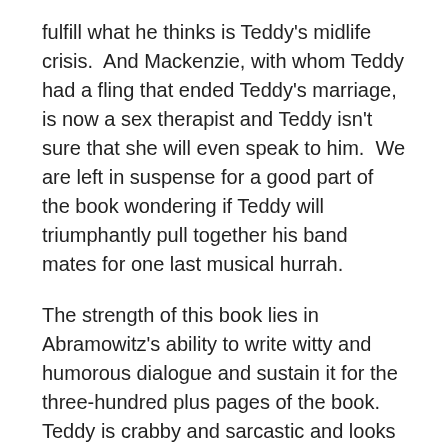fulfill what he thinks is Teddy's midlife crisis.  And Mackenzie, with whom Teddy had a fling that ended Teddy's marriage, is now a sex therapist and Teddy isn't sure that she will even speak to him.  We are left in suspense for a good part of the book wondering if Teddy will triumphantly pull together his band mates for one last musical hurrah.
The strength of this book lies in Abramowitz's ability to write witty and humorous dialogue and sustain it for the three-hundred plus pages of the book. Teddy is crabby and sarcastic and looks at the world through a negative, yet hilarious lens.  It is difficult for an author to sustain such comical quips throughout the writing of an entire book but this author does it with aplomb.
I also have to add that this book is a great read for anyone